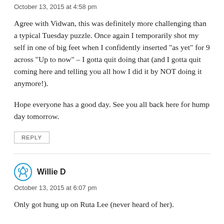October 13, 2015 at 4:58 pm
Agree with Vidwan, this was definitely more challenging than a typical Tuesday puzzle. Once again I temporarily shot my self in one of big feet when I confidently inserted "as yet" for 9 across "Up to now" – I gotta quit doing that (and I gotta quit coming here and telling you all how I did it by NOT doing it anymore!).
Hope everyone has a good day. See you all back here for hump day tomorrow.
REPLY
Willie D
October 13, 2015 at 6:07 pm
Only got hung up on Ruta Lee (never heard of her).